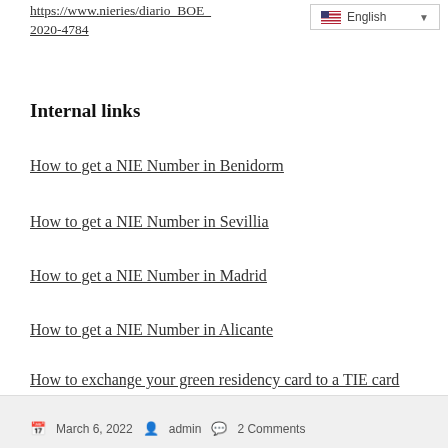https://www.nieries/diario_BOE_2020-4784
[Figure (other): Language selector widget showing English with a US flag and dropdown arrow]
Internal links
How to get a NIE Number in Benidorm
How to get a NIE Number in Sevillia
How to get a NIE Number in Madrid
How to get a NIE Number in Alicante
How to exchange your green residency card to a TIE card
March 6, 2022   admin   2 Comments